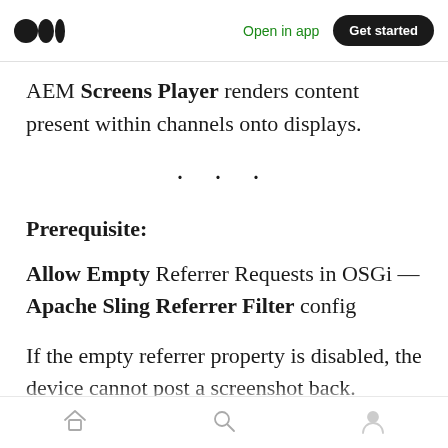Medium logo | Open in app | Get started
AEM Screens Player renders content present within channels onto displays.
· · ·
Prerequisite:
Allow Empty Referrer Requests in OSGi — Apache Sling Referrer Filter config
If the empty referrer property is disabled, the device cannot post a screenshot back. Currently
Home | Search | Profile